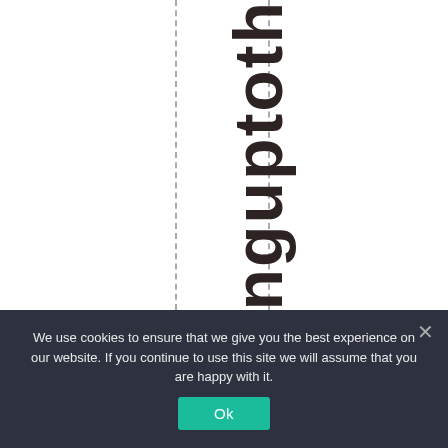ndinguptoth
We use cookies to ensure that we give you the best experience on our website. If you continue to use this site we will assume that you are happy with it. Ok